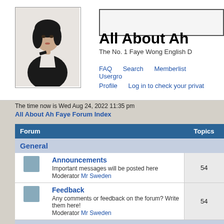[Figure (photo): Photo of a woman with long dark hair wearing a black outfit, displayed in a bordered frame on the left side of the header]
All About Ah
The No. 1 Faye Wong English D
FAQ   Search   Memberlist   Usergro
Profile   Log in to check your privat
The time now is Wed Aug 24, 2022 11:35 pm
All About Ah Faye Forum Index
| Forum | Topics |
| --- | --- |
| General |  |
| Announcements
Important messages will be posted here
Moderator Mr Sweden | 54 |
| Feedback
Any comments or feedback on the forum? Write them here!
Moderator Mr Sweden | 54 |
| All About Ah Faye |  |